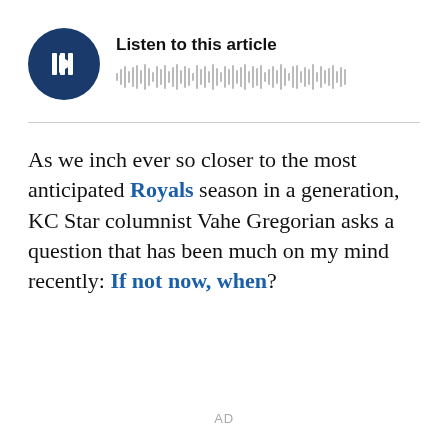[Figure (other): Audio player widget with dark blue circular play button and waveform visualization, titled 'Listen to this article']
As we inch ever so closer to the most anticipated Royals season in a generation, KC Star columnist Vahe Gregorian asks a question that has been much on my mind recently: If not now, when?
AD